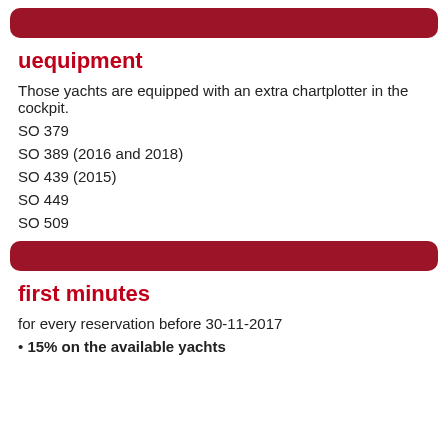[Figure (other): Red rounded horizontal bar at top of page]
uequipment
Those yachts are equipped with an extra chartplotter in the cockpit.
SO 379
SO 389 (2016 and 2018)
SO 439 (2015)
SO 449
SO 509
[Figure (other): Red rounded horizontal bar as section divider]
first minutes
for every reservation before 30-11-2017
15% on the available yachts